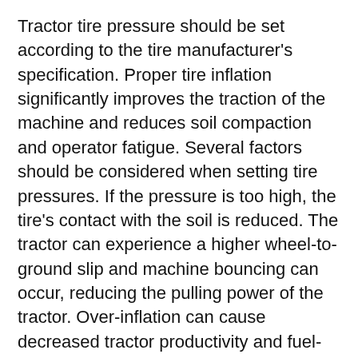Tractor tire pressure should be set according to the tire manufacturer's specification. Proper tire inflation significantly improves the traction of the machine and reduces soil compaction and operator fatigue. Several factors should be considered when setting tire pressures. If the pressure is too high, the tire's contact with the soil is reduced. The tractor can experience a higher wheel-to-ground slip and machine bouncing can occur, reducing the pulling power of the tractor. Over-inflation can cause decreased tractor productivity and fuel-efficiency, as well as increased soil compaction. A higher wheel slip can equal higher fuel consumption. Over-inflation also reduces the tire's longevity.
Over-inflation can be detected in the center of the tire where it has the most contact with the ground. The center lugs are often worn and shorter than the lugs near the outer edge of the tire. If the tire has experiencing a sustained duration of wheel slippage, the tire will often show signs of wear in the lugs as thin lines or groves where the tire was scraped past